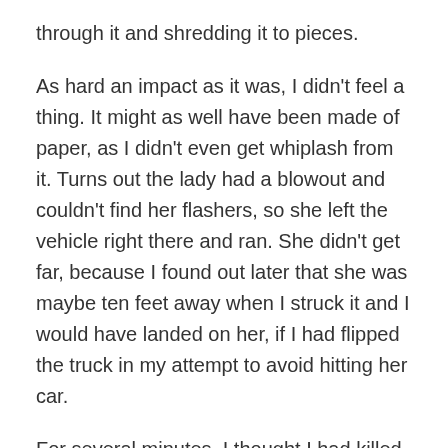through it and shredding it to pieces.
As hard an impact as it was, I didn't feel a thing. It might as well have been made of paper, as I didn't even get whiplash from it. Turns out the lady had a blowout and couldn't find her flashers, so she left the vehicle right there and ran. She didn't get far, because I found out later that she was maybe ten feet away when I struck it and I would have landed on her, if I had flipped the truck in my attempt to avoid hitting her car.
For several minutes, I thought I had killed multiple occupants, since I figured no one in their right mind would leave a car there for someone to hit, rather than pulling to the side of the road. Debris flew everywhere, yet none of the cars in my rear-view mirror were struck by it. As they were towing my truck away, I got a good